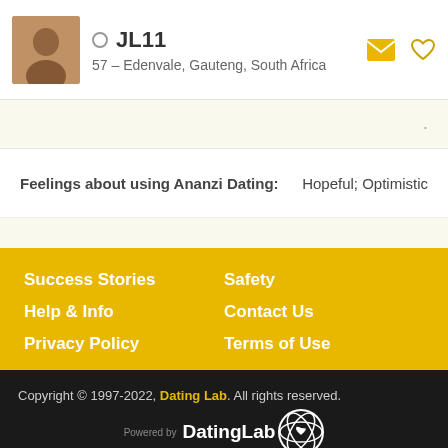JL11 — 57 – Edenvale, Gauteng, South Africa
Feelings about using Ananzi Dating: Hopeful; Optimistic
Honesty: Extremely
Success Stories
Safety
Help & Info
Contact Us
Privacy Policy
Terms of Use
Copyright © 1997-2022, Dating Lab. All rights reserved.
[Figure (logo): DatingLab logo with atom/heart icon and 'Powered by DatingLab' text]